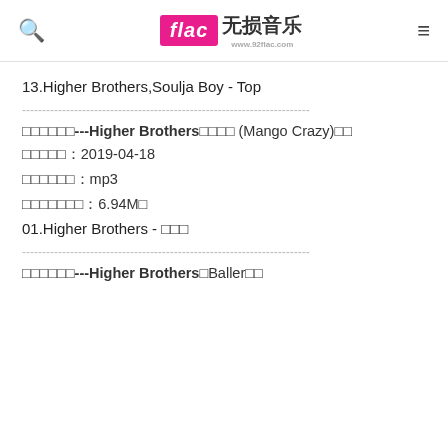flac 无损音乐 www.92flac.com
13.Higher Brothers,Soulja Boy - Top
--------------------------------------------------------------------------------
所属专辑---Higher Brothers《Mango Crazy》合辑
发布时间：2019-04-18
音乐格式：mp3
文件大小：6.94M字
01.Higher Brothers - 芒果树
--------------------------------------------------------------------------------
所属专辑---Higher Brothers《Baller》合辑